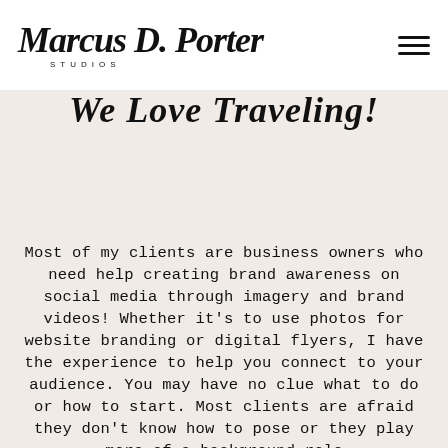Marcus D. Porter Studios
We Love Traveling!
Most of my clients are business owners who need help creating brand awareness on social media through imagery and brand videos! Whether it's to use photos for website branding or digital flyers, I have the experience to help you connect to your audience. You may have no clue what to do or how to start. Most clients are afraid they don't know how to pose or they play more of a background role